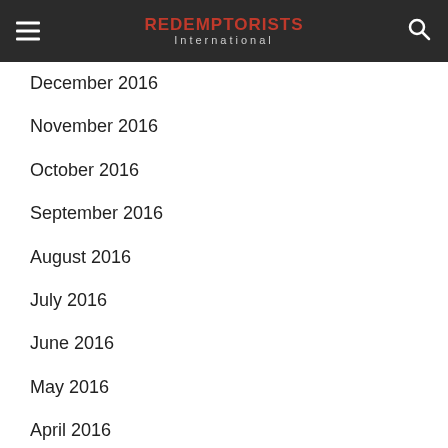REDEMPTORISTS International
December 2016
November 2016
October 2016
September 2016
August 2016
July 2016
June 2016
May 2016
April 2016
We use cookies to ensure that we give you the best experience on our website. If you continue to use this site we will assume that you are happy with it.
Ok | No | Privacy policy